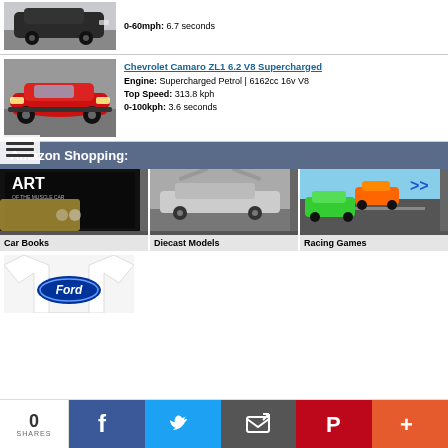[Figure (photo): Partial view of a dark SUV/car from the front, grey road background]
0-60mph: 6.7 seconds
[Figure (photo): Red Chevrolet Camaro ZL1 on a red carpet]
Chevrolet Camaro ZL1 6.2 V8 Supercharged
Engine: Supercharged Petrol | 6162cc 16v V8
Top Speed: 313.8 kph
0-100kph: 3.6 seconds
Amazon Shopping:
[Figure (photo): Car Books - book cover showing vintage car]
[Figure (photo): Diecast Models - DeLorean time machine]
[Figure (photo): Racing Games - colorful racing game screenshot with multiple cars]
[Figure (photo): White t-shirt with Ford oval logo]
0
SHARES
f
Twitter bird icon
Email icon
Pinterest P icon
+